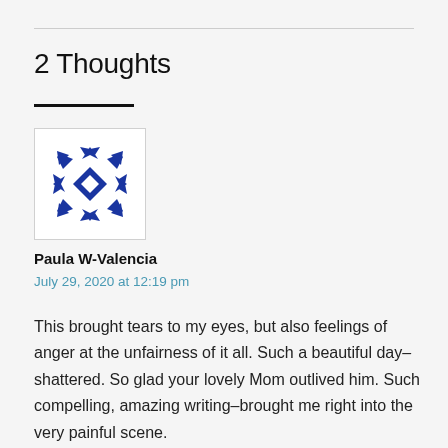2 Thoughts
[Figure (illustration): Blue geometric quilt-pattern avatar icon for commenter Paula W-Valencia]
Paula W-Valencia
July 29, 2020 at 12:19 pm
This brought tears to my eyes, but also feelings of anger at the unfairness of it all. Such a beautiful day–shattered. So glad your lovely Mom outlived him. Such compelling, amazing writing–brought me right into the very painful scene.